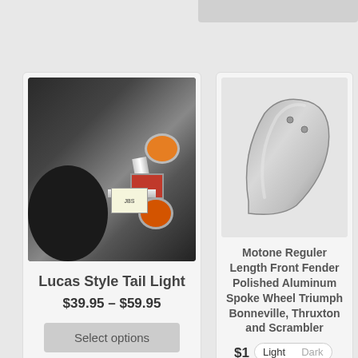[Figure (photo): Photo of motorcycle tail light assembly with amber turn signals and red brake light, chrome mounting hardware]
Lucas Style Tail Light
$39.95 – $59.95
Select options
[Figure (photo): Photo of Motone polished aluminum front fender on white background, curved mudguard shape]
Motone Reguler Length Front Fender Polished Aluminum Spoke Wheel Triumph Bonneville, Thruxton and Scrambler
$1
Light
Dark
Add to cart